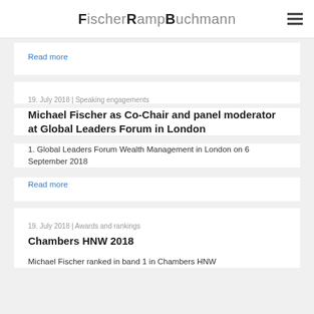FischerRampBuchmann
Read more
19. July 2018 | Speaking engagements
Michael Fischer as Co-Chair and panel moderator at Global Leaders Forum in London
1. Global Leaders Forum Wealth Management in London on 6 September 2018
Read more
19. July 2018 | Awards and rankings
Chambers HNW 2018
Michael Fischer ranked in band 1 in Chambers HNW